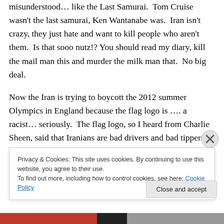misunderstood… like the Last Samurai.  Tom Cruise wasn't the last samurai, Ken Wantanabe was.  Iran isn't crazy, they just hate and want to kill people who aren't them.  Is that sooo nutz!? You should read my diary, kill the mail man this and murder the milk man that.  No big deal.
Now the Iran is trying to boycott the 2012 summer Olympics in England because the flag logo is …. a racist… seriously.  The flag logo, so I heard from Charlie Sheen, said that Iranians are bad drivers and bad tippers.  I've
Privacy & Cookies: This site uses cookies. By continuing to use this website, you agree to their use.
To find out more, including how to control cookies, see here: Cookie Policy